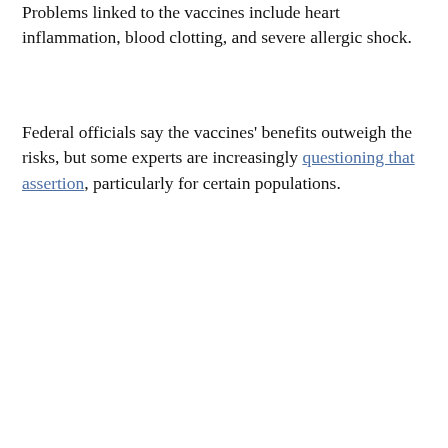Problems linked to the vaccines include heart inflammation, blood clotting, and severe allergic shock.
Federal officials say the vaccines' benefits outweigh the risks, but some experts are increasingly questioning that assertion, particularly for certain populations.